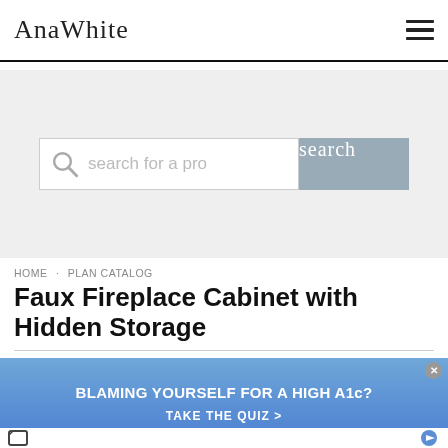AnaWhite
[Figure (screenshot): Search bar with magnifying glass icon, placeholder text 'search for a pro', and a grey 'search' button]
HOME · PLAN CATALOG
Faux Fireplace Cabinet with Hidden Storage
[Figure (infographic): Advertisement banner with blue gradient background. Text: 'BLAMING YOURSELF FOR A HIGH A1c?' and 'TAKE THE QUIZ >']